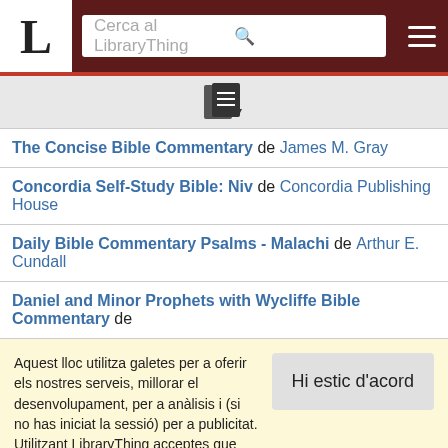Cerca al LibraryThing
[Figure (other): Books/document icon with small dropdown arrow]
The Concise Bible Commentary de James M. Gray
Concordia Self-Study Bible: Niv de Concordia Publishing House
Daily Bible Commentary Psalms - Malachi de Arthur E. Cundall
Daniel and Minor Prophets with Wycliffe Bible Commentary de
Aquest lloc utilitza galetes per a oferir els nostres serveis, millorar el desenvolupament, per a anàlisis i (si no has iniciat la sessió) per a publicitat. Utilitzant LibraryThing acceptes que has llegit i entès els nostres Termes de servei i política de privacitat. L'ús que facis del lloc i dels seus serveis està subjecte a aquestes polítiques i termes.